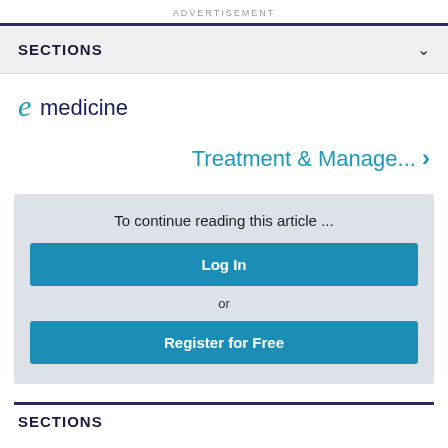ADVERTISEMENT
SECTIONS
[Figure (logo): eMedicine logo with stylized cursive 'e' in teal/blue followed by 'medicine' in dark blue]
Treatment & Manage... >
To continue reading this article ...
Log In
or
Register for Free
SECTIONS